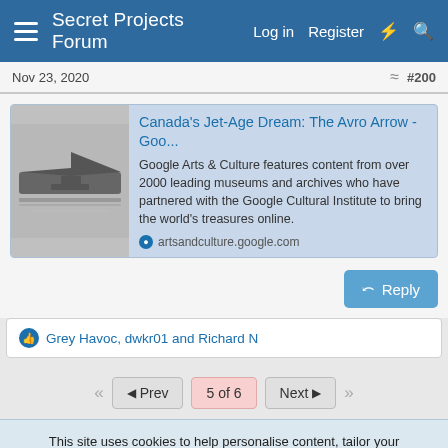Secret Projects Forum  Log in  Register
Nov 23, 2020  #200
[Figure (screenshot): Link preview card for 'Canada's Jet-Age Dream: The Avro Arrow - Goo...' from artsandculture.google.com. Includes thumbnail of aircraft and description: Google Arts & Culture features content from over 2000 leading museums and archives who have partnered with the Google Cultural Institute to bring the world's treasures online.]
Canada's Jet-Age Dream: The Avro Arrow - Goo...
Google Arts & Culture features content from over 2000 leading museums and archives who have partnered with the Google Cultural Institute to bring the world's treasures online.
artsandculture.google.com
Reply
Grey Havoc, dwkr01 and Richard N
Prev  5 of 6  Next
This site uses cookies to help personalise content, tailor your experience and to keep you logged in if you register.
By continuing to use this site, you are consenting to our use of cookies.
Accept  Learn more...